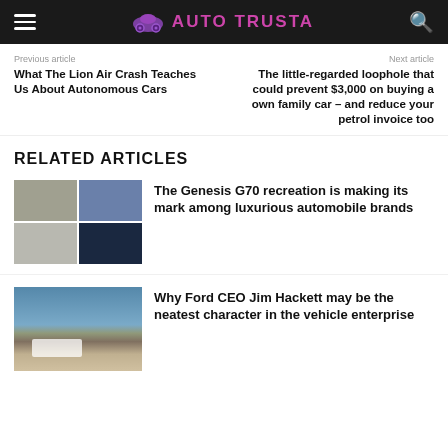AUTO TRUSTA
Previous article
What The Lion Air Crash Teaches Us About Autonomous Cars
Next article
The little-regarded loophole that could prevent $3,000 on buying a own family car – and reduce your petrol invoice too
RELATED ARTICLES
[Figure (photo): Grid of four car photos showing luxury sedans]
The Genesis G70 recreation is making its mark among luxurious automobile brands
[Figure (photo): A truck driving on a desert road under blue sky]
Why Ford CEO Jim Hackett may be the neatest character in the vehicle enterprise